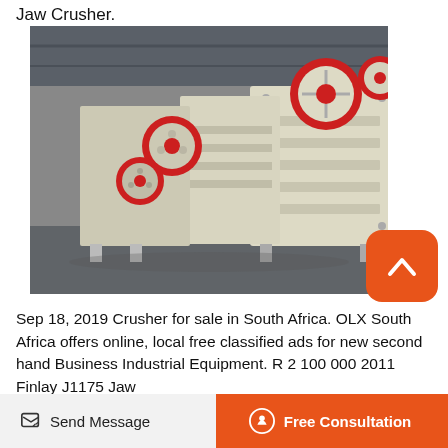Jaw Crusher.
[Figure (photo): Multiple jaw crusher machines lined up in an industrial warehouse. Machines are cream/white colored with red circular flywheels. Industrial setting with metal roof structure visible.]
Sep 18, 2019 Crusher for sale in South Africa. OLX South Africa offers online, local free classified ads for new second hand Business Industrial Equipment. R 2 100 000 2011 Finlay J1175 Jaw
Send Message   Free Consultation